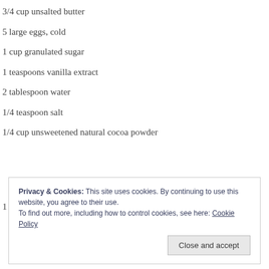3/4 cup unsalted butter
5 large eggs, cold
1 cup granulated sugar
1 teaspoons vanilla extract
2 tablespoon water
1/4 teaspoon salt
1/4 cup unsweetened natural cocoa powder
Privacy & Cookies: This site uses cookies. By continuing to use this website, you agree to their use.
To find out more, including how to control cookies, see here: Cookie Policy
Close and accept